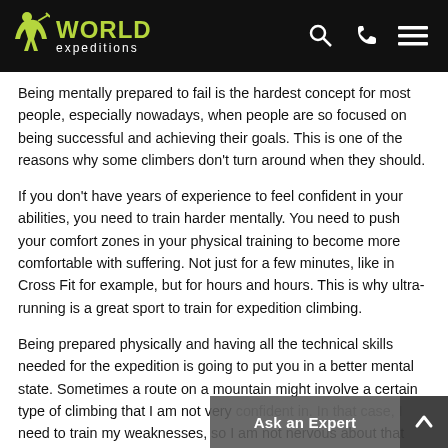World Expeditions
Being mentally prepared to fail is the hardest concept for most people, especially nowadays, when people are so focused on being successful and achieving their goals. This is one of the reasons why some climbers don't turn around when they should.
If you don't have years of experience to feel confident in your abilities, you need to train harder mentally. You need to push your comfort zones in your physical training to become more comfortable with suffering. Not just for a few minutes, like in Cross Fit for example, but for hours and hours. This is why ultra-running is a great sport to train for expedition climbing.
Being prepared physically and having all the technical skills needed for the expedition is going to put you in a better mental state. Sometimes a route on a mountain might involve a certain type of climbing that I am not very confident in. In that case, I need to train my weaknesses, so I am not nervous about that part of the climb in the...